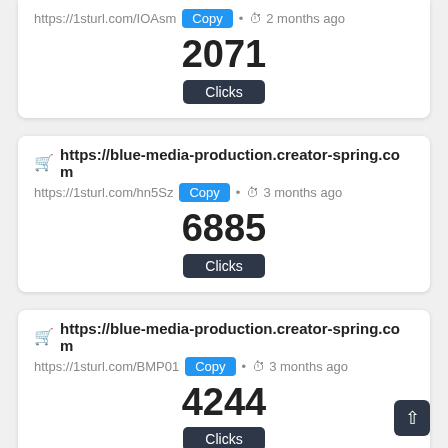https://1sturl.com/IOAsm  Copy  •  2 months ago
2071
Clicks
https://blue-media-production.creator-spring.com
https://1sturl.com/hn5Sz  Copy  •  3 months ago
6885
Clicks
https://blue-media-production.creator-spring.com
https://1sturl.com/BMP01  Copy  •  3 months ago
4244
Clicks